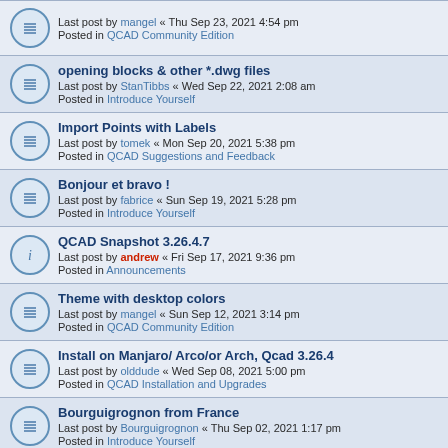Last post by mangel « Thu Sep 23, 2021 4:54 pm
Posted in QCAD Community Edition
opening blocks & other *.dwg files
Last post by StanTibbs « Wed Sep 22, 2021 2:08 am
Posted in Introduce Yourself
Import Points with Labels
Last post by tomek « Mon Sep 20, 2021 5:38 pm
Posted in QCAD Suggestions and Feedback
Bonjour et bravo !
Last post by fabrice « Sun Sep 19, 2021 5:28 pm
Posted in Introduce Yourself
QCAD Snapshot 3.26.4.7
Last post by andrew « Fri Sep 17, 2021 9:36 pm
Posted in Announcements
Theme with desktop colors
Last post by mangel « Sun Sep 12, 2021 3:14 pm
Posted in QCAD Community Edition
Install on Manjaro/ Arco/or Arch, Qcad 3.26.4
Last post by olddude « Wed Sep 08, 2021 5:00 pm
Posted in QCAD Installation and Upgrades
Bourguigrognon from France
Last post by Bourguigrognon « Thu Sep 02, 2021 1:17 pm
Posted in Introduce Yourself
Command line font size
Last post by narmoo « Wed Sep 01, 2021 2:56 pm
Posted in QCAD Community Edition